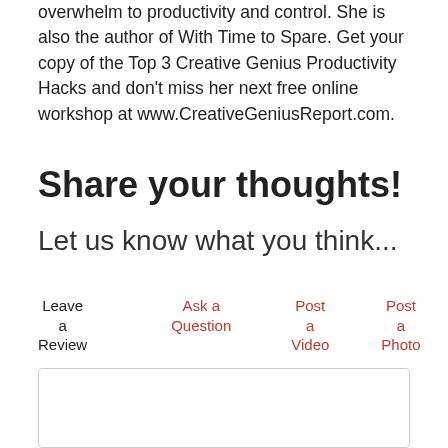overwhelm to productivity and control. She is also the author of With Time to Spare. Get your copy of the Top 3 Creative Genius Productivity Hacks and don't miss her next free online workshop at www.CreativeGeniusReport.com.
Share your thoughts!
Let us know what you think...
Leave a Review | Ask a Question | Post a Video | Post a Photo
How would you rate this product? *